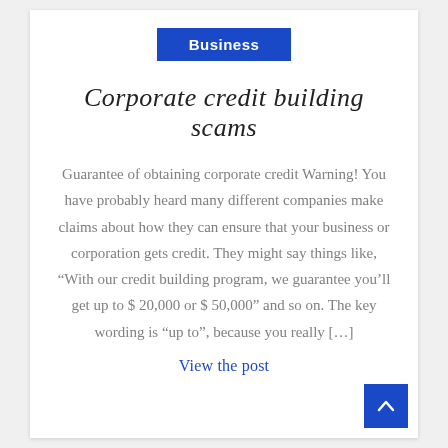Business
Corporate credit building scams
Guarantee of obtaining corporate credit Warning! You have probably heard many different companies make claims about how they can ensure that your business or corporation gets credit. They might say things like, “With our credit building program, we guarantee you’ll get up to $ 20,000 or $ 50,000” and so on. The key wording is “up to”, because you really [...]
View the post